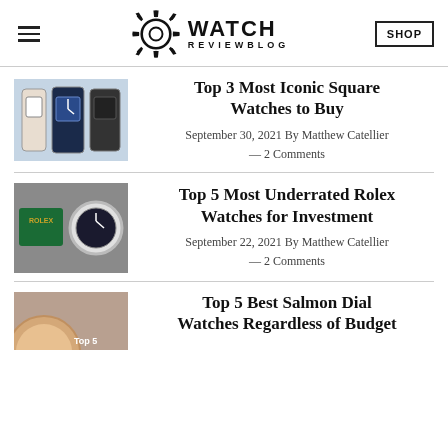WATCH REVIEWBLOG
[Figure (other): Watch review blog logo with gear icon and WATCH REVIEWBLOG text, hamburger menu on left, SHOP button on right]
Top 3 Most Iconic Square Watches to Buy
September 30, 2021 By Matthew Catellier — 2 Comments
Top 5 Most Underrated Rolex Watches for Investment
September 22, 2021 By Matthew Catellier — 2 Comments
Top 5 Best Salmon Dial Watches Regardless of Budget